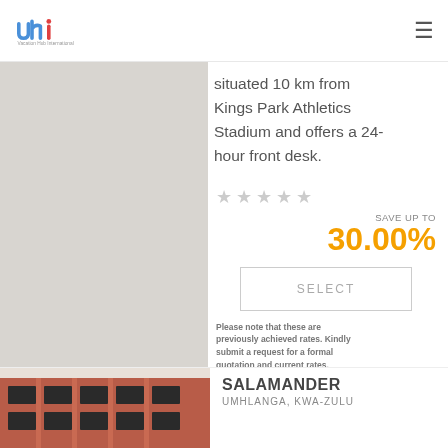VHI - Vacation Hub International
Gateway Apartments offers an outdoor
situated 10 km from Kings Park Athletics Stadium and offers a 24-hour front desk.
[Figure (other): Five grey empty star rating icons]
SAVE UP TO
30.00%
SELECT
Please note that these are previously achieved rates. Kindly submit a request for a formal quotation and current rates.
[Figure (photo): Bottom portion of a red/terracotta brick apartment building exterior]
SALAMANDER
UMHLANGA, KWA-ZULU